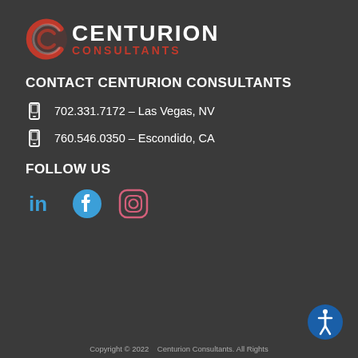[Figure (logo): Centurion Consultants logo with red C swirl icon and text CENTURION CONSULTANTS]
CONTACT CENTURION CONSULTANTS
702.331.7172 – Las Vegas, NV
760.546.0350 – Escondido, CA
FOLLOW US
[Figure (infographic): Social media icons: LinkedIn, Facebook, Instagram]
[Figure (infographic): Accessibility icon button]
Copyright © 2022   Centurion Consultants. All Rights